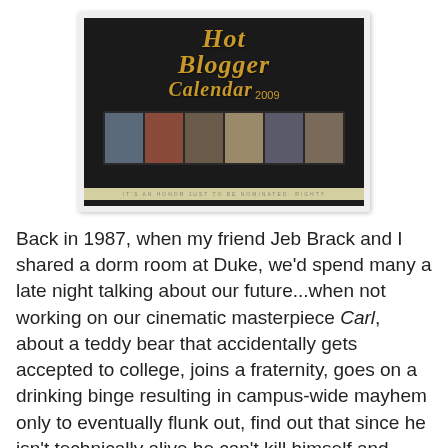[Figure (photo): Hot Blogger Calendar 2009 cover image with dark background, decorative gold script title text, and a horizontal strip of six small photos of bloggers along the bottom, with a tagline footer bar.]
Back in 1987, when my friend Jeb Brack and I shared a dorm room at Duke, we'd spend many a late night talking about our future...when not working on our cinematic masterpiece Carl, about a teddy bear that accidentally gets accepted to college, joins a fraternity, goes on a drinking binge resulting in campus-wide mayhem only to eventually flunk out, find out that since he isn't technically alive he can't kill himself and ultimately runs away to Madagascar to pretend to be a ringtailed lemur (oddly enough, the film never